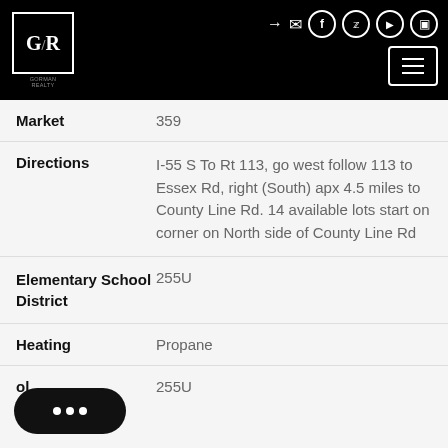GR logo header with navigation icons
| Field | Value |
| --- | --- |
| Market | 359 |
| Directions | I-55 S To Rt 113, go west follow 113 to Essex Rd, right (South) apx 4.5 miles to County Line Rd. 14 available lots start on corner on North side of County Line Rd |
| Elementary School District | 255U |
| Heating | Propane |
| ol | 255U |